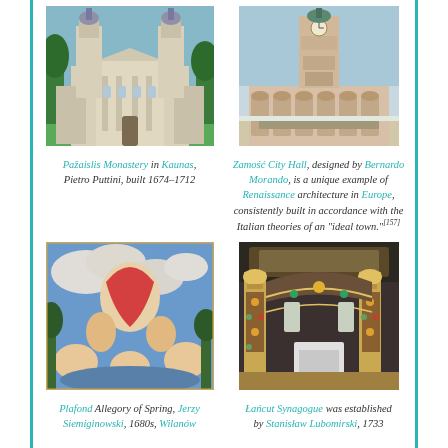[Figure (photo): Pažaislis Monastery church facade in Kaunas, baroque architecture with two towers]
[Figure (photo): Zamość City Hall, a tall Renaissance tower with arcaded building in Zamość, Poland]
Pažaislis Monastery in Kaunas, Pietro Puttini, built 1674–1712
Zamość City Hall, designed by Bernardo Morando, is a unique example of Renaissance architecture in Europe, consistently built in accordance with the Italian theories of an "ideal town."[157]
[Figure (photo): Plafond Allegory of Spring painting by Jerzy Siemiginowski, 1680s, Wilanów]
[Figure (photo): Łańcut Synagogue interior with ornate columns and ceiling decoration]
Plafond Allegory of Spring, Jerzy Siemiginowski, 1680s, Wilanów
Łańcut Synagogue was established by Stanisław Lubomirski, 1733